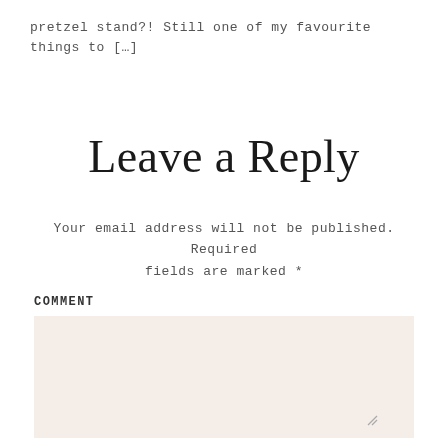pretzel stand?! Still one of my favourite things to […]
Leave a Reply
Your email address will not be published. Required fields are marked *
COMMENT